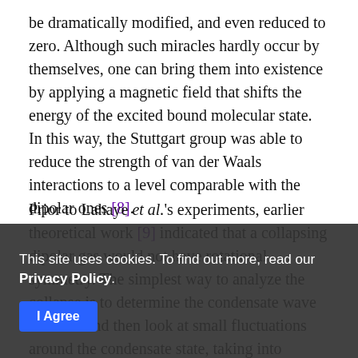be dramatically modified, and even reduced to zero. Although such miracles hardly occur by themselves, one can bring them into existence by applying a magnetic field that shifts the energy of the excited bound molecular state. In this way, the Stuttgart group was able to reduce the strength of van der Waals interactions to a level comparable with the dipolar ones [8].
Prior to Lahaye et al.'s experiments, earlier theoretical work [9] indicated that a collapsing dipolar gas would not have rotational symmetry. The simplest way to analyze the collapse is to determine the condensate wave function and then look at small fluctuations around the condensate state, taking into account the dipolar interactions [10]. If
small fluctuations grow exponentially then the gas is unstable to collapse, and the instability occurs when the [partially visible], in the form of phonons, have modes that have [partially visible] 100% In the present paper, the authors go far